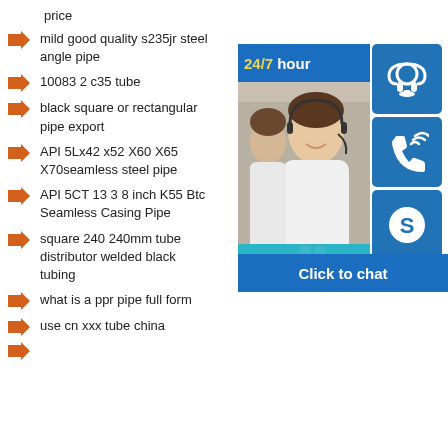price
mild good quality s235jr steel angle pipe
10083 2 c35 tube
black square or rectangular pipe export
API 5Lx42 x52 X60 X65 X70seamless steel pipe
API 5CT 13 3 8 inch K55 Btc Seamless Casing Pipe
square 240 240mm tube distributor welded black tubing
what is a ppr pipe full form
use cn xxx tube china
[Figure (infographic): 24/7 hour customer service chat widget with photo of call center agents, headset icon, phone icon, Skype icon, and 'Click to chat' button]